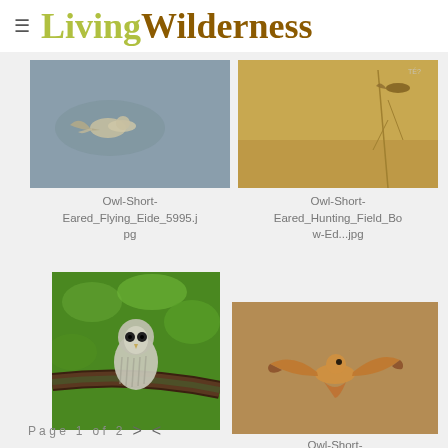≡ LivingWilderness
[Figure (photo): Short-Eared Owl in flight against blurred grey-green background]
[Figure (photo): Short-Eared Owl hunting over golden field with bare branches, small watermark 'TÉ?' in top right]
Owl-Short-Eared_Flying_Eide_5995.jpg
Owl-Short-Eared_Hunting_Field_Bow-Ed...jpg
[Figure (photo): Barred Owl perched on a moss-covered branch surrounded by green leaves]
[Figure (photo): Short-Eared Owl in flight against grey sky, warm orange-brown tones]
Owl-Short-Eared_Flying_Bayview-...
Page 1 of 2  >  <